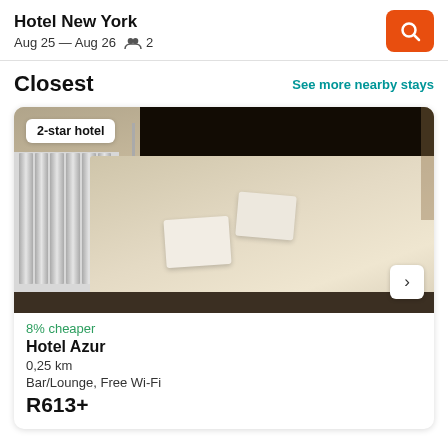Hotel New York
Aug 25 — Aug 26   2
See more nearby stays
Closest
[Figure (photo): Hotel room photo showing a double bed with white linens and two folded towels, dark headboard, white radiator on left, dark floor. Badge overlay reads '2-star hotel'. Arrow navigation button on right.]
8% cheaper
Hotel Azur
0,25 km
Bar/Lounge, Free Wi-Fi
R613+